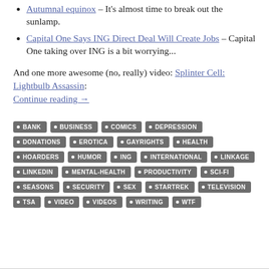Autumnal equinox – It's almost time to break out the sunlamp.
Capital One Says ING Direct Deal Will Create Jobs – Capital One taking over ING is a bit worrying...
And one more awesome (no, really) video: Splinter Cell: Lightbulb Assassin:
Continue reading →
BANK BUSINESS COMICS DEPRESSION DONATIONS EROTICA GAYRIGHTS HEALTH HOARDERS HUMOR ING INTERNATIONAL LINKAGE LINKEDIN MENTAL-HEALTH PRODUCTIVITY SCI-FI SEASONS SECURITY SEX STARTREK TELEVISION TSA VIDEO VIDEOS WRITING WTF